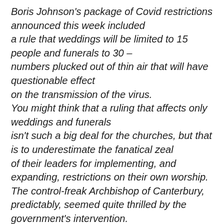Boris Johnson's package of Covid restrictions announced this week included a rule that weddings will be limited to 15 people and funerals to 30 – numbers plucked out of thin air that will have questionable effect on the transmission of the virus. You might think that a ruling that affects only weddings and funerals isn't such a big deal for the churches, but that is to underestimate the fanatical zeal of their leaders for implementing, and expanding, restrictions on their own worship. The control-freak Archbishop of Canterbury, predictably, seemed quite thrilled by the government's intervention. My own reaction, informed by conversations with many